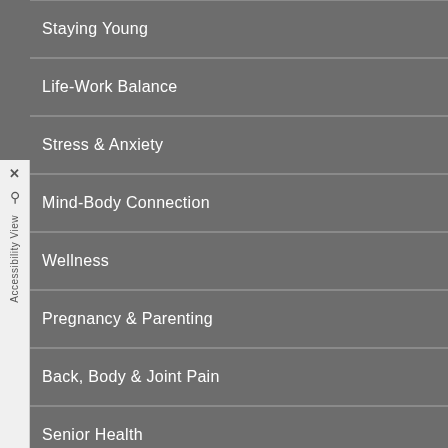Staying Young
Life-Work Balance
Stress & Anxiety
Mind-Body Connection
Wellness
Pregnancy & Parenting
Back, Body & Joint Pain
Senior Health